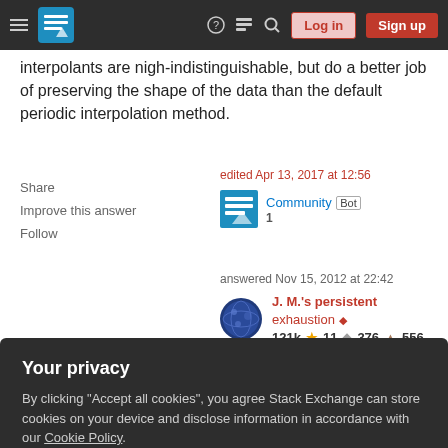Stack Exchange navigation bar with Log in and Sign up buttons
interpolants are nigh-indistinguishable, but do a better job of preserving the shape of the data than the default periodic interpolation method.
Share | Improve this answer | Follow
edited Apr 13, 2017 at 12:56
Community Bot
1
answered Nov 15, 2012 at 22:42
J. M.'s persistent exhaustion
121k  11  376  556
Your privacy
By clicking "Accept all cookies", you agree Stack Exchange can store cookies on your device and disclose information in accordance with our Cookie Policy.
Accept all cookies  Customize settings